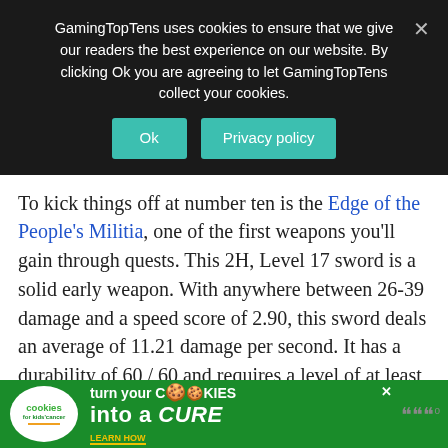GamingTopTens uses cookies to ensure that we give our readers the best experience on our website. By clicking Ok you are agreeing to let GamingTopTens collect your cookies.
To kick things off at number ten is the Edge of the People's Militia, one of the first weapons you'll gain through quests. This 2H, Level 17 sword is a solid early weapon. With anywhere between 26-39 damage and a speed score of 2.90, this sword deals an average of 11.21 damage per second. It has a durability of 60 / 60 and requires a level of at least 9 to utilize. The sword will also add five extra stamina points when used. This weapon can be gained by completing "The People's Militia" quest in Westfall. After carrying out Gryan Stoutmantle's orders to kill 15 Defias Highwaymen, 5 De...ers, you wil...se the Ed...
[Figure (screenshot): Cookie consent advertisement banner at bottom of page for Cookies for Kids Cancer - turn your cookies into a CURE]